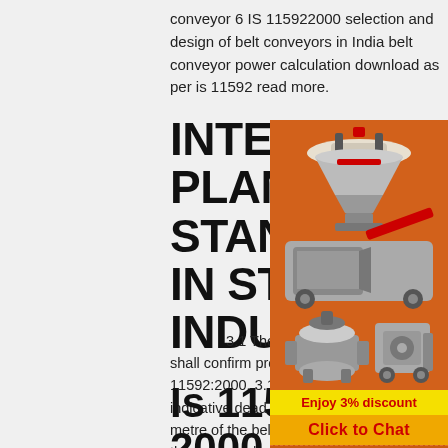conveyor 6 IS 115922000 selection and design of belt conveyors in India belt conveyor power calculation download as per is 11592 read more.
INTER PLANT STANDARD IN STEEL INDUST
3.1 The loads and capacities shall confirm provision of IS 11592:2000. 3.1.1 Dead Loads indicative dead loads per running metre of the belt conveyor i.e., without the conveyed material for various belt widths are given in TAble-3. For the purpose of design, this or the actual loading, whichever is less, shall be adopted.
Is 11592 2000 Belt Conveyor Design -
[Figure (illustration): Orange advertisement panel with industrial machinery (crushers, mills) images, discount offer, chat button, enquiry section, and email contact limingjlmofen@sina.com]